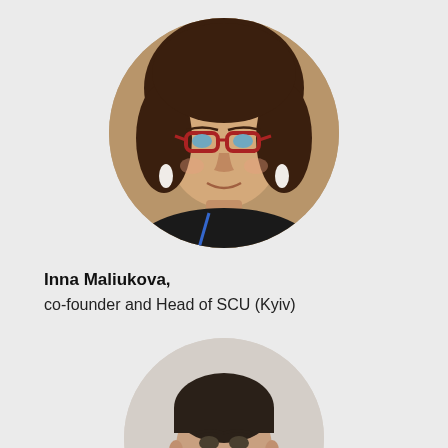[Figure (photo): Circular portrait photo of Inna Maliukova, a woman with dark curly hair, red-framed glasses, wearing dark jacket with a blue lanyard, smiling.]
Inna Maliukova,
co-founder and Head of SCU (Kyiv)
[Figure (photo): Circular portrait photo of a man with short dark hair, wearing dark suit, holding a microphone, speaking at an event.]